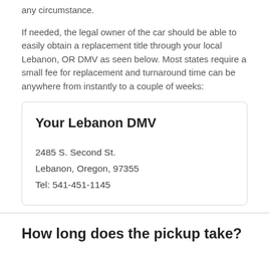any circumstance.
If needed, the legal owner of the car should be able to easily obtain a replacement title through your local Lebanon, OR DMV as seen below. Most states require a small fee for replacement and turnaround time can be anywhere from instantly to a couple of weeks:
Your Lebanon DMV
2485 S. Second St.
Lebanon, Oregon, 97355
Tel: 541-451-1145
How long does the pickup take?